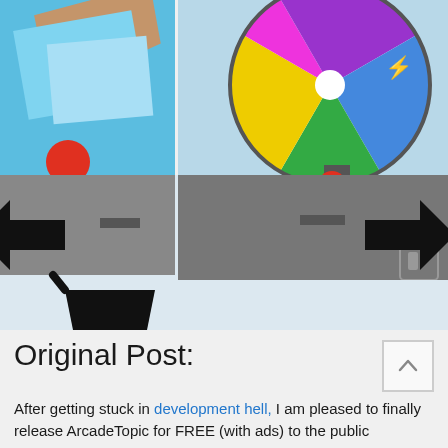[Figure (screenshot): Mobile game screenshot showing a colorful spinning prize wheel with multiple colored segments (purple, blue, green, yellow, magenta) on a light blue background, with a road/gray strip below and navigation arrows and icons (left arrow, right arrow, shopping cart, settings gear) on a light blue background]
Original Post:
After getting stuck in development hell, I am pleased to finally release ArcadeTopic for FREE (with ads) to the public